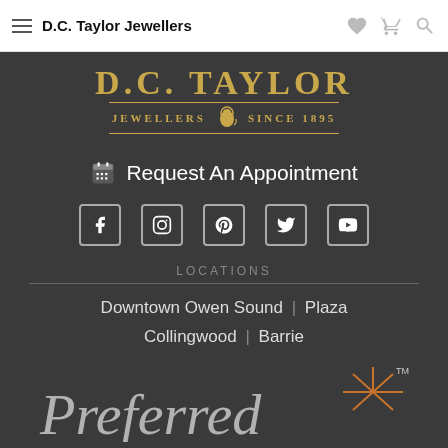D.C. Taylor Jewellers
[Figure (logo): D.C. Taylor Jewellers gold logo with lion crest, text 'D.C. TAYLOR JEWELLERS SINCE 1895' on dark background]
📅 Request An Appointment
[Figure (infographic): Row of 5 social media icons: Facebook, Instagram, Pinterest, Twitter, YouTube]
LOCATIONS
Downtown Owen Sound | Plaza
Collingwood | Barrie
[Figure (logo): Preferred logo in cursive script with orange starburst/sparkle graphic and TM symbol]